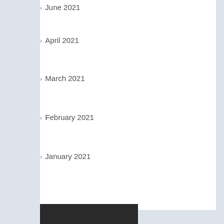June 2021
April 2021
March 2021
February 2021
January 2021